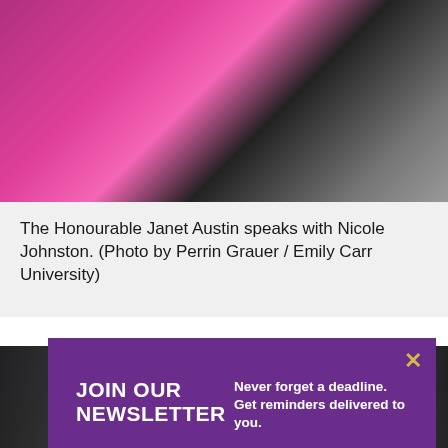[Figure (photo): Person in bright pink/magenta blazer holding a light blue booklet or program, with a decorative medallion necklace visible. Other people visible in background.]
The Honourable Janet Austin speaks with Nicole Johnston. (Photo by Perrin Grauer / Emily Carr University)
[Figure (photo): Dark background photo partially visible behind popup overlay, appears to show people in a dimly lit setting.]
[Figure (infographic): Purple popup newsletter signup overlay with close button (X in gold/yellow), heading 'JOIN OUR NEWSLETTER', tagline 'Never forget a deadline. Get reminders delivered to you.', and an email address input field.]